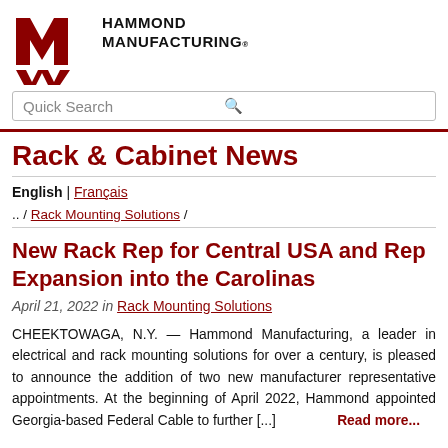[Figure (logo): Hammond Manufacturing logo: red stylized 'M' with double-W shape below, and bold text 'HAMMOND MANUFACTURING.' to the right]
Quick Search
Rack & Cabinet News
English | Français
.. / Rack Mounting Solutions /
New Rack Rep for Central USA and Rep Expansion into the Carolinas
April 21, 2022 in Rack Mounting Solutions
CHEEKTOWAGA, N.Y. — Hammond Manufacturing, a leader in electrical and rack mounting solutions for over a century, is pleased to announce the addition of two new manufacturer representative appointments. At the beginning of April 2022, Hammond appointed Georgia-based Federal Cable to further [...] Read more...